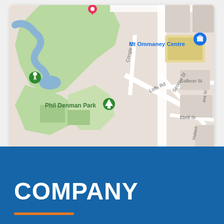[Figure (map): Google Maps screenshot showing Mt Ommaney area in Brisbane, Australia. Shows Phil Denman Park (green area with tree marker), Mt Ommaney Centre (blue shopping bag marker), a pink/red map pin at the top, a green running figure marker on the left. Road labels include Cringle Pl, Loffs Rd, Sirocco St, Galleon St, Ebrill St. Blue water features and green parkland visible.]
COMPANY